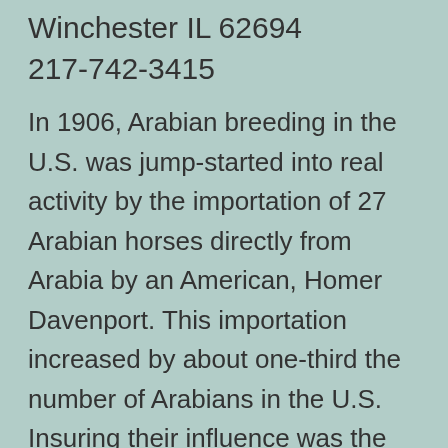Winchester IL 62694
217-742-3415
In 1906, Arabian breeding in the U.S. was jump-started into real activity by the importation of 27 Arabian horses directly from Arabia by an American, Homer Davenport. This importation increased by about one-third the number of Arabians in the U.S. Insuring their influence was the ingenuity, optimism and drive of their importer, Homer Davenport, backed by the steady determination and healthy financial reserves of his partner in horses, Peter B. Bradley of Hingham,